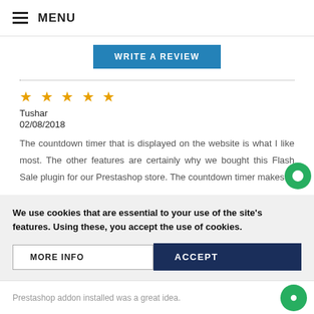MENU
WRITE A REVIEW
★ ★ ★ ★ ★
Tushar
02/08/2018
The countdown timer that is displayed on the website is what I like most. The other features are certainly why we bought this Flash Sale plugin for our Prestashop store. The countdown timer makes
We use cookies that are essential to your use of the site's features. Using these, you accept the use of cookies.
MORE INFO
ACCEPT
Prestashop addon installed was a great idea.